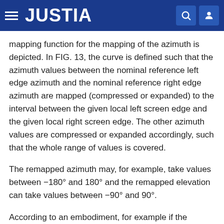JUSTIA
mapping function for the mapping of the azimuth is depicted. In FIG. 13, the curve is defined such that the azimuth values between the nominal reference left edge azimuth and the nominal reference right edge azimuth are mapped (compressed or expanded) to the interval between the given local left screen edge and the given local right screen edge. The other azimuth values are compressed or expanded accordingly, such that the whole range of values is covered.
The remapped azimuth may, for example, take values between −180° and 180° and the remapped elevation can take values between −90° and 90°.
According to an embodiment, for example if the isScreenRelativeObject flag is set to zero, then no screen-related element remapping is applied for the corresponding element and the geometric positional